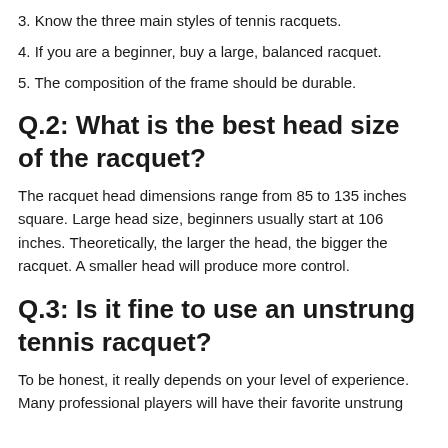3. Know the three main styles of tennis racquets.
4. If you are a beginner, buy a large, balanced racquet.
5. The composition of the frame should be durable.
Q.2: What is the best head size of the racquet?
The racquet head dimensions range from 85 to 135 inches square. Large head size, beginners usually start at 106 inches. Theoretically, the larger the head, the bigger the racquet. A smaller head will produce more control.
Q.3: Is it fine to use an unstrung tennis racquet?
To be honest, it really depends on your level of experience. Many professional players will have their favorite unstrung